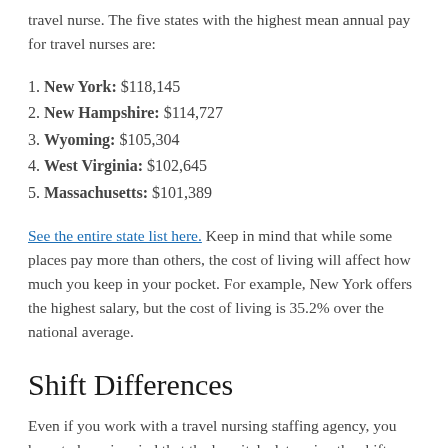travel nurse. The five states with the highest mean annual pay for travel nurses are:
1. New York: $118,145
2. New Hampshire: $114,727
3. Wyoming: $105,304
4. West Virginia: $102,645
5. Massachusetts: $101,389
See the entire state list here. Keep in mind that while some places pay more than others, the cost of living will affect how much you keep in your pocket. For example, New York offers the highest salary, but the cost of living is 35.2% over the national average.
Shift Differences
Even if you work with a travel nursing staffing agency, you have to keep in mind that the hospitals determine the shift requirements for